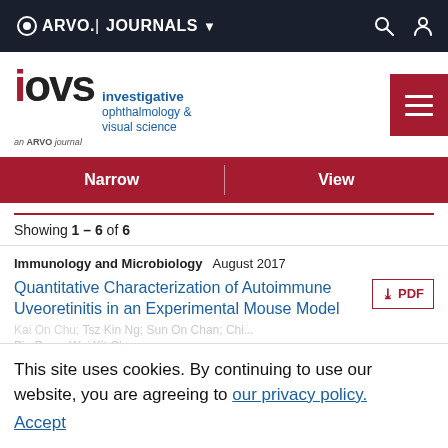ARVO. JOURNALS
[Figure (logo): IOVS - Investigative Ophthalmology & Visual Science journal logo, an ARVO journal]
Narrow | View
Showing 1 – 6 of 6
Immunology and Microbiology  August 2017
Quantitative Characterization of Autoimmune Uveoretinitis in an Experimental Mouse Model
This site uses cookies. By continuing to use our website, you are agreeing to our privacy policy.
Accept